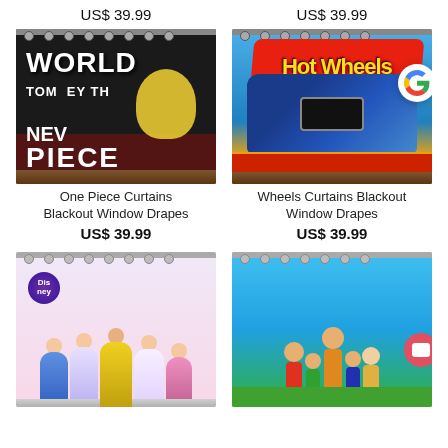US$ 39.99
US$ 39.99
[Figure (photo): One Piece anime curtain with black background showing 'WORLD', 'TOM...EY TH', 'NEV', 'PIECE' text and a character with yellow straw hat]
[Figure (photo): Hot Wheels curtains with blue background, red Hot Wheels logo, racing cars, with Google logo badge overlay]
One Piece Curtains Blackout Window Drapes
US$ 39.99
Wheels Curtains Blackout Window Drapes
US$ 39.99
[Figure (photo): Disney Princess curtains with pink/white background showing multiple princess characters and Disney logo]
[Figure (photo): One Piece group curtains with blue sky and green background showing multiple anime characters, with chat badge overlay]